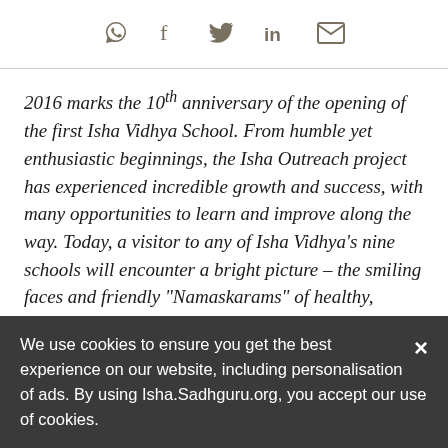[Social share icons: WhatsApp, Facebook, Twitter, LinkedIn, Email]
2016 marks the 10th anniversary of the opening of the first Isha Vidhya School. From humble yet enthusiastic beginnings, the Isha Outreach project has experienced incredible growth and success, with many opportunities to learn and improve along the way. Today, a visitor to any of Isha Vidhya's nine schools will encounter a bright picture – the smiling faces and friendly "Namaskarams" of healthy, happy children in a clean, inviting, and stimulating environment. And behind the scenes, so
We use cookies to ensure you get the best experience on our website, including personalisation of ads. By using Isha.Sadhguru.org, you accept our use of cookies.